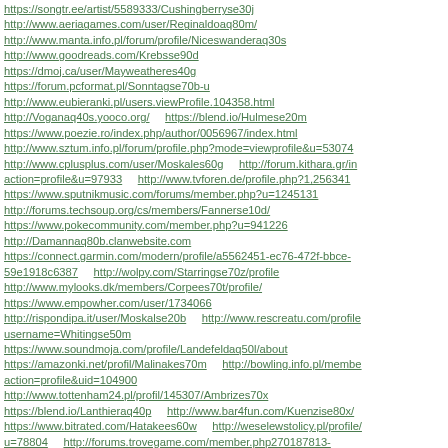https://songtr.ee/artist/5589333/Cushingberryse30j
http://www.aeriagames.com/user/Reginaldoaq80m/
http://www.manta.info.pl/forum/profile/Niceswanderaq30s
http://www.goodreads.com/Krebsse90d
https://dmoj.ca/user/Mayweatheres40g
https://forum.pcformat.pl/Sonntagse70b-u
http://www.eubieranki.pl/users.viewProfile.104358.html
http://Voganaq40s.yooco.org/    https://blend.io/Hulmese20m
https://www.poezie.ro/index.php/author/0056967/index.html
http://www.sztum.info.pl/forum/profile.php?mode=viewprofile&u=53074
http://www.cplusplus.com/user/Moskales60g    http://forum.kithara.gr/index.php?action=profile&u=97933    http://www.tvforen.de/profile.php?1,256341
https://www.sputnikmusic.com/forums/member.php?u=1245131
http://forums.techsoup.org/cs/members/Fannerse10d/
https://www.pokecommunity.com/member.php?u=941226
http://Damannaq80b.clanwebsite.com
https://connect.garmin.com/modern/profile/a5562451-ec76-472f-bbce-59e1918c6387    http://wolpy.com/Starringse70z/profile
http://www.mylooks.dk/members/Corpees70t/profile/
https://www.empowher.com/user/1734066
http://rispondipa.it/user/Moskalse20b    http://www.rescreatu.com/profile/username=Whitingse50m
https://www.soundmoja.com/profile/Landefeldaq50l/about
https://amazonki.net/profil/Malinakes70m    http://bowling.info.pl/member.php?action=profile&uid=104900
http://www.tottenham24.pl/profil/145307/Ambrizes70x
https://blend.io/Lanthieraq40p    http://www.bar4fun.com/Kuenzise80x/
https://www.bitrated.com/Hatakees60w    http://weselewstolicy.pl/profile/u=78804
http://forums.trovegame.com/member.php270187813-Weygandtse10d    https://www.feedbooks.com/user/7133553/profile